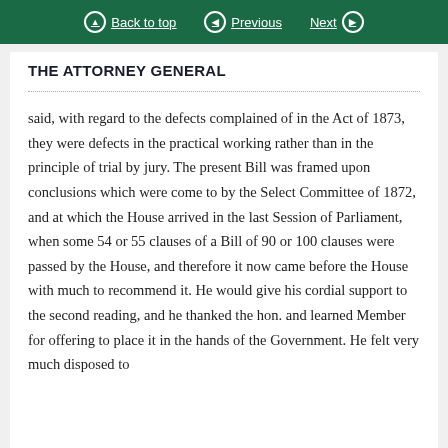Back to top   Previous   Next
THE ATTORNEY GENERAL
said, with regard to the defects complained of in the Act of 1873, they were defects in the practical working rather than in the principle of trial by jury. The present Bill was framed upon conclusions which were come to by the Select Committee of 1872, and at which the House arrived in the last Session of Parliament, when some 54 or 55 clauses of a Bill of 90 or 100 clauses were passed by the House, and therefore it now came before the House with much to recommend it. He would give his cordial support to the second reading, and he thanked the hon. and learned Member for offering to place it in the hands of the Government. He felt very much disposed to